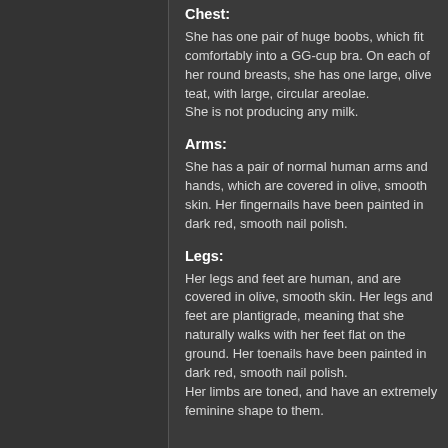Chest:
She has one pair of huge boobs, which fit comfortably into a GG-cup bra. On each of her round breasts, she has one large, olive teat, with large, circular areolae.
She is not producing any milk.
Arms:
She has a pair of normal human arms and hands, which are covered in olive, smooth skin. Her fingernails have been painted in dark red, smooth nail polish.
Legs:
Her legs and feet are human, and are covered in olive, smooth skin. Her legs and feet are plantigrade, meaning that she naturally walks with her feet flat on the ground. Her toenails have been painted in dark red, smooth nail polish.
Her limbs are toned, and have an extremely feminine shape to them.